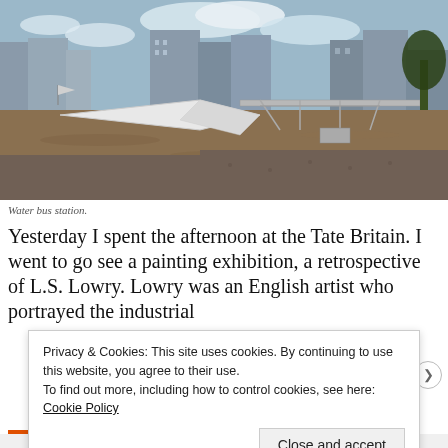[Figure (photo): Photograph of a white tent/marquee structure on the River Thames acting as a water bus station, with brown flood water visible and London city buildings in the background under a partly cloudy sky.]
Water bus station.
Yesterday I spent the afternoon at the Tate Britain. I went to go see a painting exhibition, a retrospective of L.S. Lowry. Lowry was an English artist who portrayed the industrial
Privacy & Cookies: This site uses cookies. By continuing to use this website, you agree to their use.
To find out more, including how to control cookies, see here: Cookie Policy
Close and accept